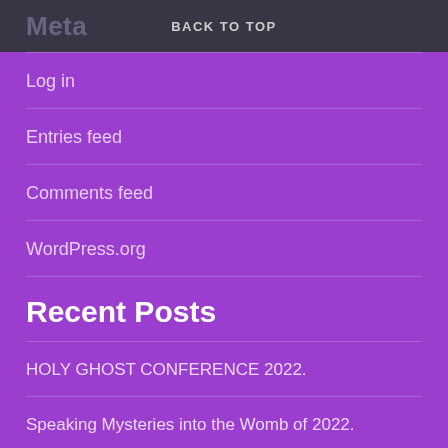Meta   BACK TO TOP
Log in
Entries feed
Comments feed
WordPress.org
Recent Posts
HOLY GHOST CONFERENCE 2022.
Speaking Mysteries into the Womb of 2022.
SHAGHAI 2021.